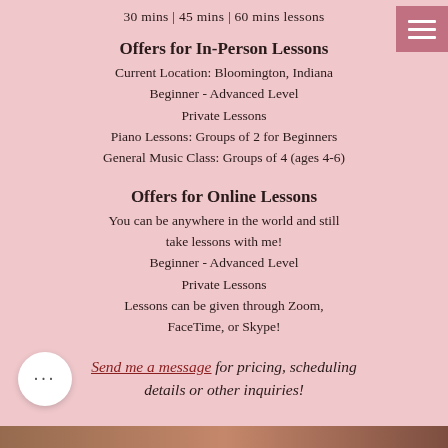30 mins | 45 mins | 60 mins lessons
Offers for In-Person Lessons
Current Location: Bloomington, Indiana
Beginner - Advanced Level
Private Lessons
Piano Lessons: Groups of 2 for Beginners
General Music Class: Groups of 4 (ages 4-6)
Offers for Online Lessons
You can be anywhere in the world and still take lessons with me!
Beginner - Advanced Level
Private Lessons
Lessons can be given through Zoom, FaceTime, or Skype!
Send me a message for pricing, scheduling details or other inquiries!